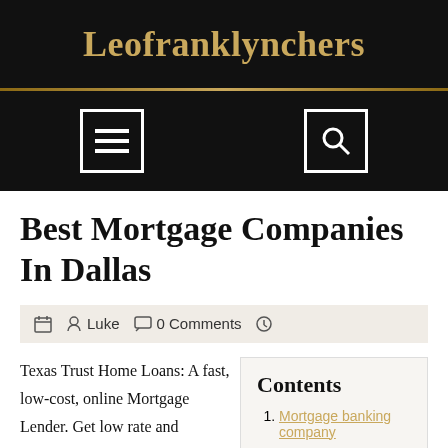Leofranklynchers
Best Mortgage Companies In Dallas
Luke   0 Comments
Texas Trust Home Loans: A fast, low-cost, online Mortgage Lender. Get low rate and payment mortgages with no
Contents
Mortgage banking company
Mortgage company, home
Mortgage servicing careers
Id: 137773 nmls